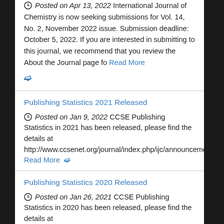Posted on Apr 13, 2022 International Journal of Chemistry is now seeking submissions for Vol. 14, No. 2, November 2022 issue. Submission deadline: October 5, 2022. If you are interested in submitting to this journal, we recommend that you review the About the Journal page fo Read More ❯
Publishing Statistics 2021 Released
Posted on Jan 9, 2022 CCSE Publishing Statistics in 2021 has been released, please find the details at http://www.ccsenet.org/journal/index.php/ijc/announcements/
Read More ❯
Publishing Statistics 2020 Released
Posted on Jan 26, 2021 CCSE Publishing Statistics in 2020 has been released, please find the details at http://www.ccsenet.org/journal/index.php/ijc/announcements/
Read More ❯